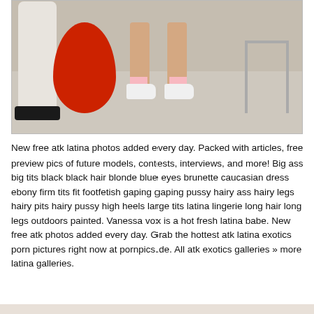[Figure (photo): Photo showing lower body / legs of a person wearing white sneakers with pink socks, seated on or near a large red bean bag chair. A white cylindrical object with a black base is visible on the left, a metal folding chair is visible on the right, and the floor is tiled.]
New free atk latina photos added every day. Packed with articles, free preview pics of future models, contests, interviews, and more! Big ass big tits black black hair blonde blue eyes brunette caucasian dress ebony firm tits fit footfetish gaping gaping pussy hairy ass hairy legs hairy pits hairy pussy high heels large tits latina lingerie long hair long legs outdoors painted. Vanessa vox is a hot fresh latina babe. New free atk photos added every day. Grab the hottest atk latina exotics porn pictures right now at pornpics.de. All atk exotics galleries » more latina galleries.